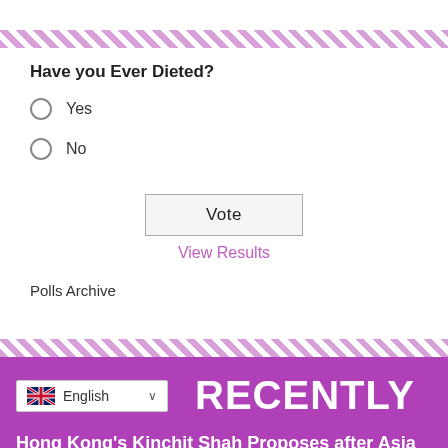Have you Ever Dieted?
Yes
No
Vote
View Results
Polls Archive
RECENTLY
Hong Kong's Kinchit Shah Proposes after Asia Cup